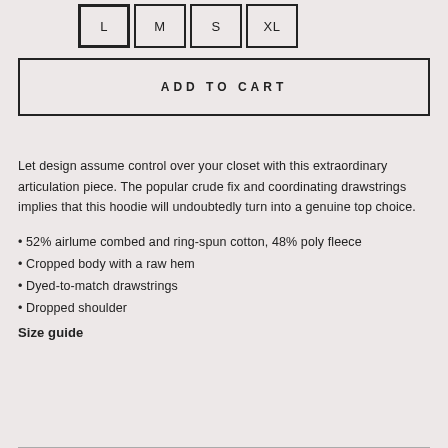L
M
S
XL
ADD TO CART
Let design assume control over your closet with this extraordinary articulation piece. The popular crude fix and coordinating drawstrings implies that this hoodie will undoubtedly turn into a genuine top choice.
52% airlume combed and ring-spun cotton, 48% poly fleece
Cropped body with a raw hem
Dyed-to-match drawstrings
Dropped shoulder
Size guide